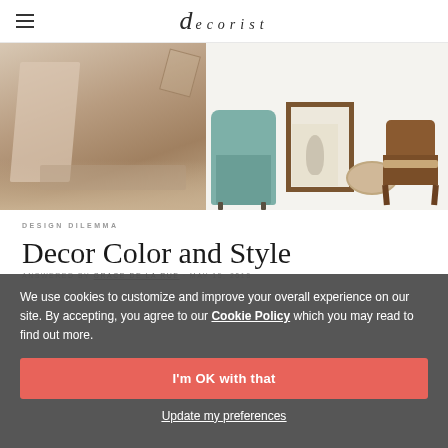decorist
[Figure (photo): Two images side by side: left shows a boho-style room with a textured throw blanket and patterned rug; right shows furniture pieces including a teal accent chair, a framed botanical art print, a round ottoman, and a wood wishbone chair on white background.]
DESIGN DILEMMA
Decor Color and Style
ANSWERED BY GRACE DE LA RUE · MAY 15, 2018
...a Adviser.
interior design help. This is a great question that you have regarding...cessori.
We use cookies to customize and improve your overall experience on our site. By accepting, you agree to our Cookie Policy which you may read to find out more.
I'm OK with that
Update my preferences